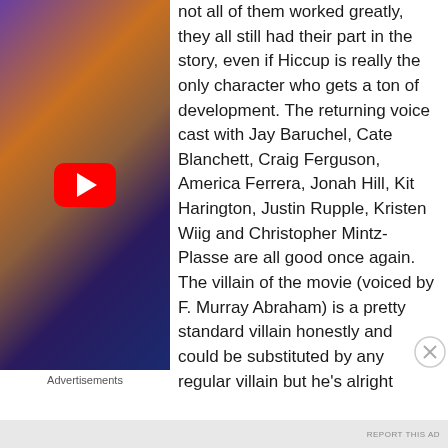[Figure (screenshot): YouTube video thumbnail showing animated dragon scene with purple and orange lighting, with red YouTube play button overlay]
Advertisements
not all of them worked greatly, they all still had their part in the story, even if Hiccup is really the only character who gets a ton of development. The returning voice cast with Jay Baruchel, Cate Blanchett, Craig Ferguson, America Ferrera, Jonah Hill, Kit Harington, Justin Rupple, Kristen Wiig and Christopher Mintz-Plasse are all good once again. The villain of the movie (voiced by F. Murray Abraham) is a pretty standard villain honestly and could be substituted by any regular villain but he's alright